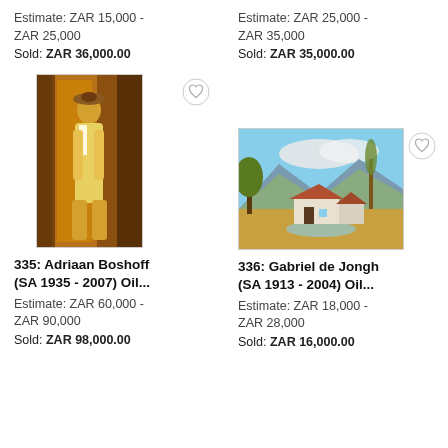Estimate: ZAR 15,000 - ZAR 25,000
Sold: ZAR 36,000.00
Estimate: ZAR 25,000 - ZAR 35,000
Sold: ZAR 35,000.00
[Figure (photo): Oil painting of a woman in a yellow dress standing near a doorway, by Adriaan Boshoff]
[Figure (photo): Oil painting of a rural landscape with a farmhouse, trees, mountains and a stream, by Gabriel de Jongh]
335: Adriaan Boshoff (SA 1935 - 2007) Oil...
Estimate: ZAR 60,000 - ZAR 90,000
Sold: ZAR 98,000.00
336: Gabriel de Jongh (SA 1913 - 2004) Oil...
Estimate: ZAR 18,000 - ZAR 28,000
Sold: ZAR 16,000.00